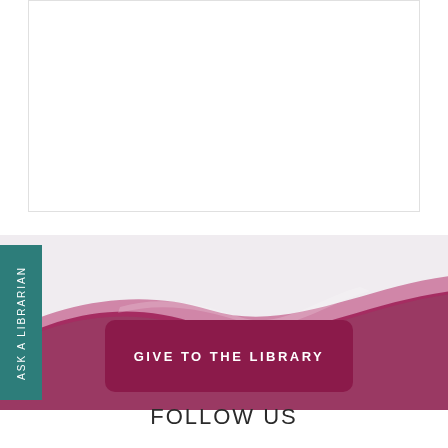[Figure (other): White content box area at top of page, partially visible]
[Figure (other): Teal vertical tab on left side with rotated text 'ASK A LIBRARIAN']
[Figure (other): Light grey banner with decorative dark maroon/crimson wave swoosh design flowing across the bottom]
GIVE TO THE LIBRARY
FOLLOW US